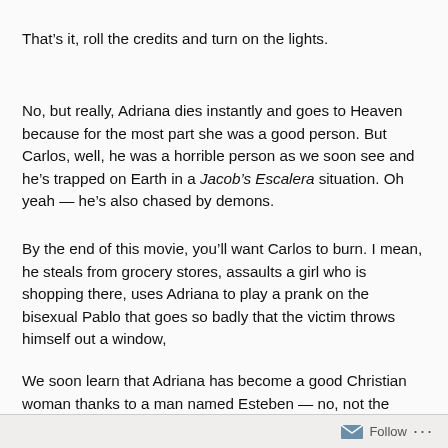That’s it, roll the credits and turn on the lights.
No, but really, Adriana dies instantly and goes to Heaven because for the most part she was a good person. But Carlos, well, he was a horrible person as we soon see and he’s trapped on Earth in a Jacob’s Escalera situation. Oh yeah — he’s also chased by demons.
By the end of this movie, you’ll want Carlos to burn. I mean, he steals from grocery stores, assaults a girl who is shopping there, uses Adriana to play a prank on the bisexual Pablo that goes so badly that the victim throws himself out a window,
We soon learn that Adriana has become a good Christian woman thanks to a man named Esteben — no, not the
Follow